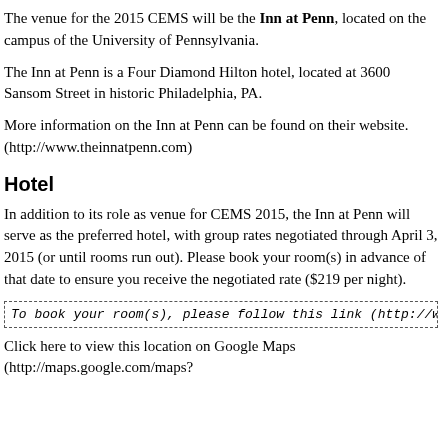The venue for the 2015 CEMS will be the Inn at Penn, located on the campus of the University of Pennsylvania.
The Inn at Penn is a Four Diamond Hilton hotel, located at 3600 Sansom Street in historic Philadelphia, PA.
More information on the Inn at Penn can be found on their website. (http://www.theinnatpenn.com)
Hotel
In addition to its role as venue for CEMS 2015, the Inn at Penn will serve as the preferred hotel, with group rates negotiated through April 3, 2015 (or until rooms run out). Please book your room(s) in advance of that date to ensure you receive the negotiated rate ($219 per night).
To book your room(s), please follow this link (http://www.hilton.com/e
Click here to view this location on Google Maps (http://maps.google.com/maps?